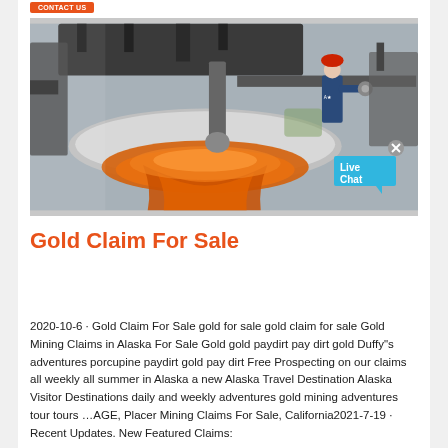[Figure (photo): Industrial mining machinery with a worker in blue uniform and red hard hat operating large equipment, with orange molten material visible]
Gold Claim For Sale
2020-10-6 · Gold Claim For Sale gold for sale gold claim for sale Gold Mining Claims in Alaska For Sale Gold gold paydirt pay dirt gold Duffy"s adventures porcupine paydirt gold pay dirt Free Prospecting on our claims all weekly all summer in Alaska a new Alaska Travel Destination Alaska Visitor Destinations daily and weekly adventures gold mining adventures tour tours …AGE, Placer Mining Claims For Sale, California2021-7-19 · Recent Updates. New Featured Claims: